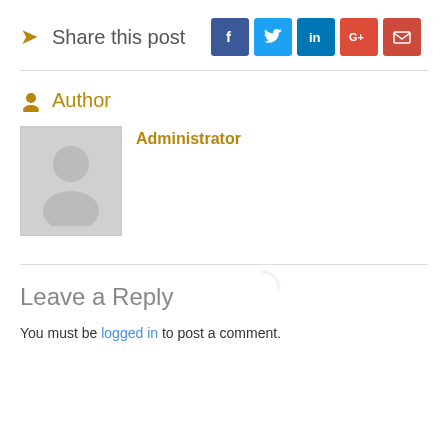Share this post [social buttons: Facebook, Twitter, LinkedIn, Google+, Email]
Author
Administrator
Leave a Reply
You must be logged in to post a comment.